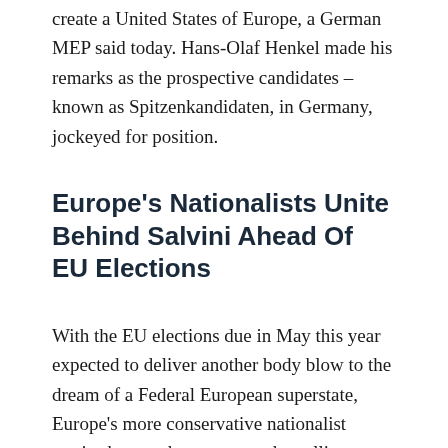create a United States of Europe, a German MEP said today. Hans-Olaf Henkel made his remarks as the prospective candidates – known as Spitzenkandidaten, in Germany, jockeyed for position.
Europe's Nationalists Unite Behind Salvini Ahead Of EU Elections
With the EU elections due in May this year expected to deliver another body blow to the dream of a Federal European superstate, Europe's more conservative nationalist parties have today announced an alliance that is